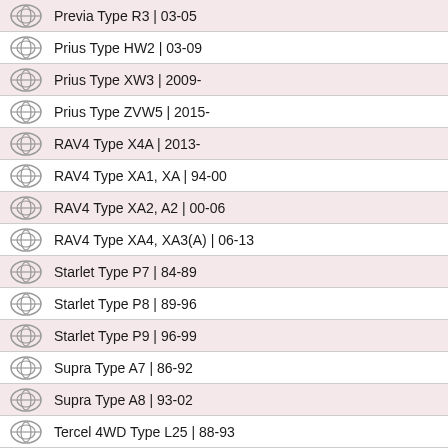Previa Type R3 | 03-05
Prius Type HW2 | 03-09
Prius Type XW3 | 2009-
Prius Type ZVW5 | 2015-
RAV4 Type X4A | 2013-
RAV4 Type XA1, XA | 94-00
RAV4 Type XA2, A2 | 00-06
RAV4 Type XA4, XA3(A) | 06-13
Starlet Type P7 | 84-89
Starlet Type P8 | 89-96
Starlet Type P9 | 96-99
Supra Type A7 | 86-92
Supra Type A8 | 93-02
Tercel 4WD Type L25 | 88-93
Urban Cruiser Type XP11(a) | 2009-